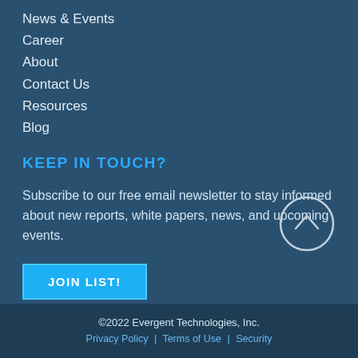News & Events
Career
About
Contact Us
Resources
Blog
KEEP IN TOUCH?
Subscribe to our free email newsletter to stay informed about new reports, white papers, news, and upcoming events.
JOIN LIST!
©2022 Evergent Technologies, Inc. | Privacy Policy | Terms of Use | Security